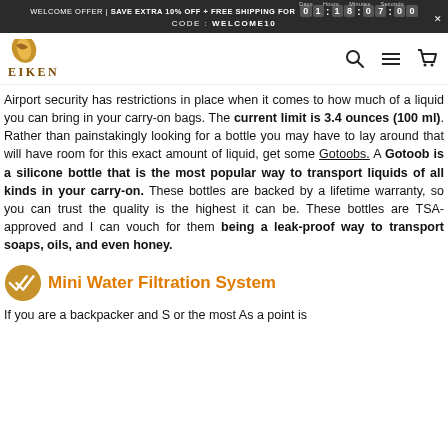WELCOME OFFER | SAVE EXTRA 10% OFF + FREE SHIPPING FOR 01:18:07:00
CODE: WELCOME10
[Figure (logo): Eiken brand logo with golden leaf/bird icon and EIKEN text in brown]
Airport security has restrictions in place when it comes to how much of a liquid you can bring in your carry-on bags. The current limit is 3.4 ounces (100 ml). Rather than painstakingly looking for a bottle you may have to lay around that will have room for this exact amount of liquid, get some Gotoobs. A Gotoob is a silicone bottle that is the most popular way to transport liquids of all kinds in your carry-on. These bottles are backed by a lifetime warranty, so you can trust the quality is the highest it can be. These bottles are TSA-approved and I can vouch for them being a leak-proof way to transport soaps, oils, and even honey.
Mini Water Filtration System
If you are a backpacker and 5 or the most As a point is